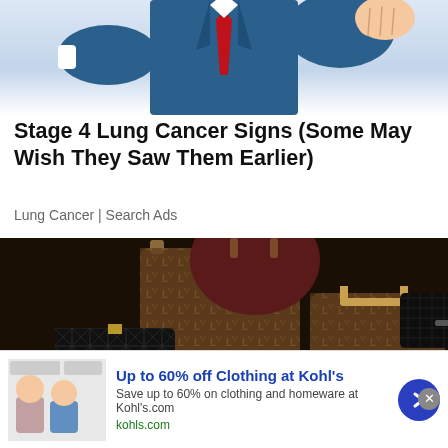[Figure (illustration): Comic-style illustration of a man in a suit with red tie, hand raised in a fist pose, cropped at top of page]
Stage 4 Lung Cancer Signs (Some May Wish They Saw Them Earlier)
Lung Cancer | Search Ads
[Figure (photo): Pile of luxury designer handbags including Louis Vuitton, Chanel, and other brands in brown, black, and cream colors]
Up to 60% off Clothing at Kohl's
Save up to 60% on clothing and homeware at Kohl's.com
kohls.com